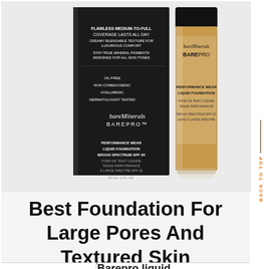[Figure (photo): Product photo of bareMinerals BAREPRO Performance Wear Liquid Foundation. Shows a black rectangular box packaging on the left and a bottle of the foundation (tan/golden colored liquid) on the right, both against a light background.]
Best Foundation For Large Pores And Textured Skin
Barepro liquid